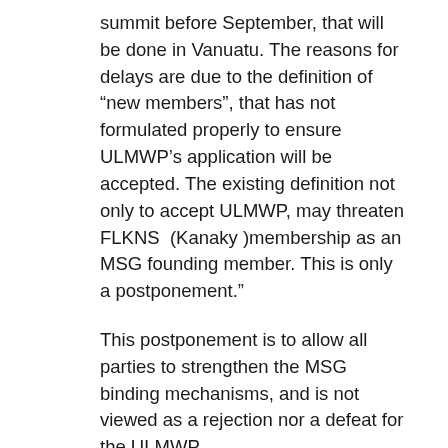summit before September, that will be done in Vanuatu. The reasons for delays are due to the definition of “new members”, that has not formulated properly to ensure ULMWP’s application will be accepted. The existing definition not only to accept ULMWP, may threaten FLKNS (Kanaky )membership as an MSG founding member. This is only a postponement.”
This postponement is to allow all parties to strengthen the MSG binding mechanisms, and is not viewed as a rejection nor a defeat for the ULMWP.
Trump explained, “Secondly, the three members who have been supporting us, will soon make an agreement stating that they will not only fight for ULMWP to become full members of MSG, but to mobilize the power of the state, both the countries of the Pacific and rest of the world, in helping the people of Papua to the right of self-determination.”
“This agreement will be signed by Prime Minister of